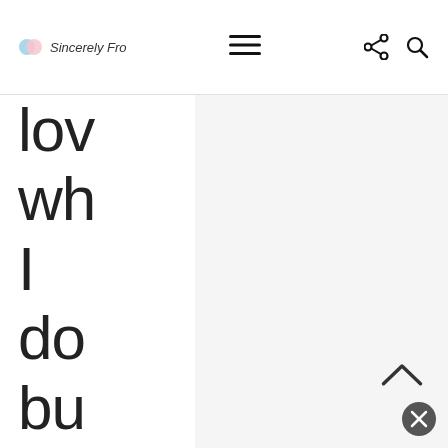Sincerely Fro [logo] [hamburger menu] [share icon] [search icon]
lov wh I do bu it's su ha to de wh it's like to be